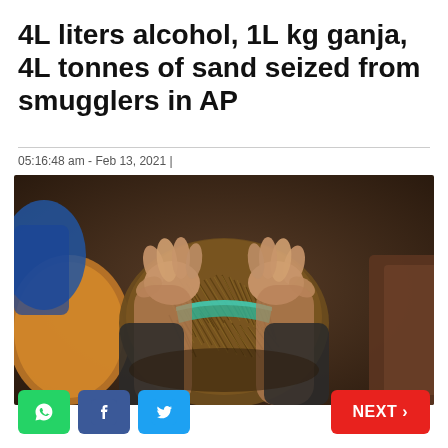4L liters alcohol, 1L kg ganja, 4L tonnes of sand seized from smugglers in AP
05:16:48 am - Feb 13, 2021 |
[Figure (photo): Hands holding an open bundle of ganja (cannabis), with other wrapped packages visible in the background]
[Figure (logo): WhatsApp share button (green)]
[Figure (logo): Facebook share button (blue)]
[Figure (logo): Twitter share button (light blue)]
[Figure (other): NEXT > navigation button (red)]